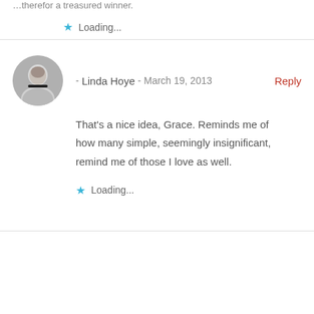…therefor a treasured winner.
★ Loading...
- Linda Hoye  -  March 19, 2013   Reply
That's a nice idea, Grace. Reminds me of how many simple, seemingly insignificant, remind me of those I love as well.
★ Loading...